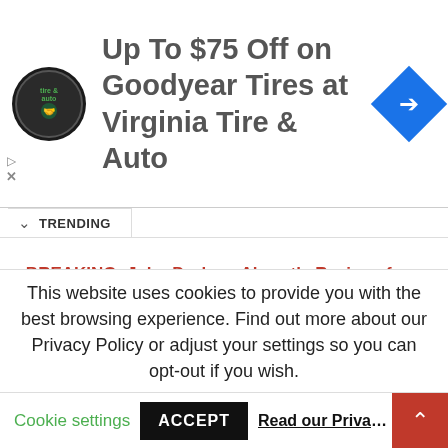[Figure (logo): Virginia Tire & Auto logo circular badge with tire and handshake graphic]
Up To $75 Off on Goodyear Tires at Virginia Tire & Auto
[Figure (other): Blue diamond-shaped navigation/directions icon with white arrow]
TRENDING
BREAKING: John Durham Abruptly Resigns from US... (30,623)
Trump Announces Who His Running Mate for 2024 would... (29,255)
BREAKING: DOJ Releases SHOCKING New Footage of
This website uses cookies to provide you with the best browsing experience. Find out more about our Privacy Policy or adjust your settings so you can opt-out if you wish.
Cookie settings   ACCEPT   Read our Privacy P